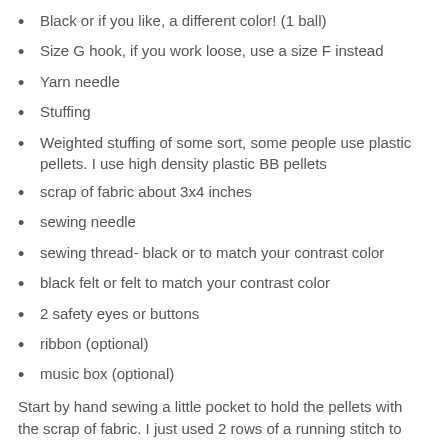Black or if you like, a different color!  (1 ball)
Size G hook, if you work loose, use a size F instead
Yarn needle
Stuffing
Weighted stuffing of some sort, some people use plastic pellets. I use high density plastic BB pellets
scrap of fabric about 3x4 inches
sewing needle
sewing thread- black or to match your contrast color
black felt or felt to match your contrast color
2 safety eyes or buttons
ribbon (optional)
music box (optional)
Start by hand sewing a little pocket to hold the pellets with the scrap of fabric. I just used 2 rows of a running stitch to